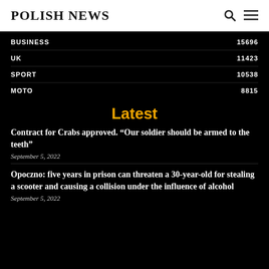POLISH NEWS
| Category | Count |
| --- | --- |
| BUSINESS | 15696 |
| UK | 11423 |
| SPORT | 10538 |
| MOTO | 8815 |
Latest
Contract for Crabs approved. “Our soldier should be armed to the teeth”
September 5, 2022
Opoczno: five years in prison can threaten a 30-year-old for stealing a scooter and causing a collision under the influence of alcohol
September 5, 2022